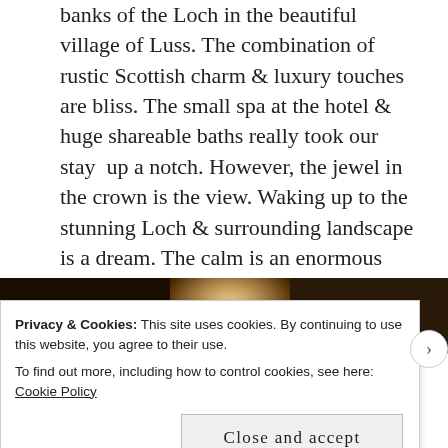banks of the Loch in the beautiful village of Luss. The combination of rustic Scottish charm & luxury touches are bliss. The small spa at the hotel & huge shareable baths really took our stay up a notch. However, the jewel in the crown is the view. Waking up to the stunning Loch & surrounding landscape is a dream. The calm is an enormous bonus, the only sounds we could hear from our room were the water lapping against the shore & the ducks quacking.
[Figure (photo): Three dark photographs side by side showing interior hotel/loch scenes]
Privacy & Cookies: This site uses cookies. By continuing to use this website, you agree to their use.
To find out more, including how to control cookies, see here: Cookie Policy
Close and accept